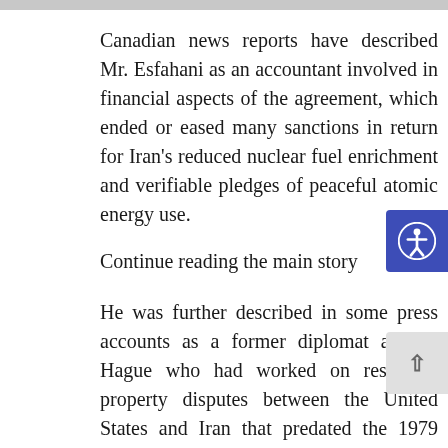Canadian news reports have described Mr. Esfahani as an accountant involved in financial aspects of the agreement, which ended or eased many sanctions in return for Iran's reduced nuclear fuel enrichment and verifiable pledges of peaceful atomic energy use.
Continue reading the main story
He was further described in some press accounts as a former diplomat at The Hague who had worked on resolving property disputes between the United States and Iran that predated the 1979 Islamic revolution and the break in relations between the two countries.
The Tasnim report said that the defendant had been released on bail after his arrest and